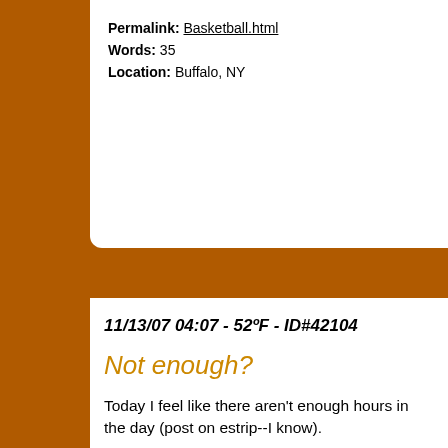Permalink: Basketball.html
Words: 35
Location: Buffalo, NY
11/13/07 04:07 - 52ºF - ID#42104
Not enough?
Today I feel like there aren't enough hours in the day (post on estrip--I know).
I also am thinking about our church's budget. And that there was more money.
Of course, I know that we have exactly the right amount and we just have to make the choices to use them both.
And so, when I get home tonight, around maybe 9 (aft